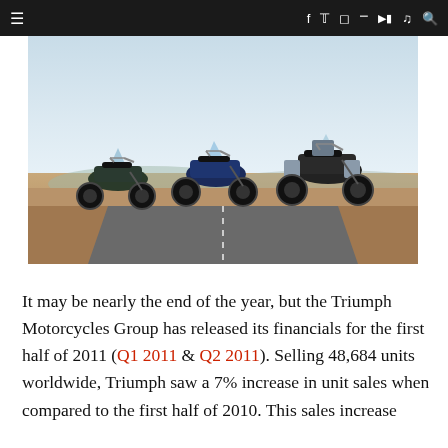≡  f  𝕏  ☷  ⊞  ▶  ⛅  🔍
[Figure (photo): Three Triumph adventure motorcycles parked on a desert road with arid landscape and pale blue sky in the background.]
It may be nearly the end of the year, but the Triumph Motorcycles Group has released its financials for the first half of 2011 (Q1 2011 & Q2 2011). Selling 48,684 units worldwide, Triumph saw a 7% increase in unit sales when compared to the first half of 2010. This sales increase